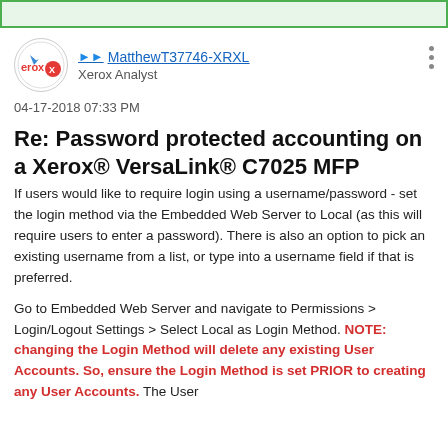[Figure (logo): Green banner bar at top of page]
[Figure (logo): Xerox logo avatar circle with red erox text and bird icon]
MatthewT37746-XRXL
Xerox Analyst
04-17-2018 07:33 PM
Re: Password protected accounting on a Xerox® VersaLink® C7025 MFP
If users would like to require login using a username/password - set the login method via the Embedded Web Server to Local (as this will require users to enter a password). There is also an option to pick an existing username from a list, or type into a username field if that is preferred.
Go to Embedded Web Server and navigate to Permissions > Login/Logout Settings > Select Local as Login Method. NOTE: changing the Login Method will delete any existing User Accounts. So, ensure the Login Method is set PRIOR to creating any User Accounts. The User